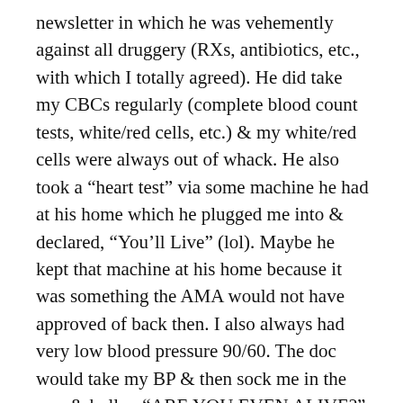newsletter in which he was vehemently against all druggery (RXs, antibiotics, etc., with which I totally agreed). He did take my CBCs regularly (complete blood count tests, white/red cells, etc.) & my white/red cells were always out of whack. He also took a “heart test” via some machine he had at his home which he plugged me into & declared, “You’ll Live” (lol). Maybe he kept that machine at his home because it was something the AMA would not have approved of back then. I also always had very low blood pressure 90/60. The doc would take my BP & then sock me in the arm & holler, “ARE YOU EVEN ALIVE?” 😀 He was a hoot!